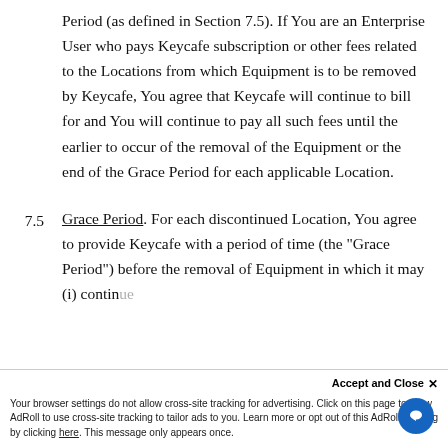Period (as defined in Section 7.5). If You are an Enterprise User who pays Keycafe subscription or other fees related to the Locations from which Equipment is to be removed by Keycafe, You agree that Keycafe will continue to bill for and You will continue to pay all such fees until the earlier to occur of the removal of the Equipment or the end of the Grace Period for each applicable Location.
7.5  Grace Period. For each discontinued Location, You agree to provide Keycafe with a period of time (the "Grace Period") before the removal of Equipment in which it may (i) continue...
Accept and Close ×
Your browser settings do not allow cross-site tracking for advertising. Click on this page to allow AdRoll to use cross-site tracking to tailor ads to you. Learn more or opt out of this AdRoll tracking by clicking here. This message only appears once.